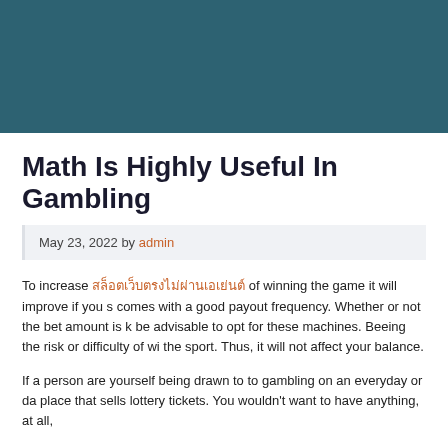Math Is Highly Useful In Gambling
May 23, 2022 by admin
To increase สล็อตเว็บตรงไม่ผ่านเอเย่นต์ of winning the game it will improve if you s comes with a good payout frequency. Whether or not the bet amount is k be advisable to opt for these machines. Beeing the risk or difficulty of wi the sport. Thus, it will not affect your balance.
If a person are yourself being drawn to to gambling on an everyday or da place that sells lottery tickets. You wouldn't want to have anything, at all,
Plan your playing speed and learn to control in which. If you want to enjo most from your time and your cash flow. As mentioned, gambling is full o